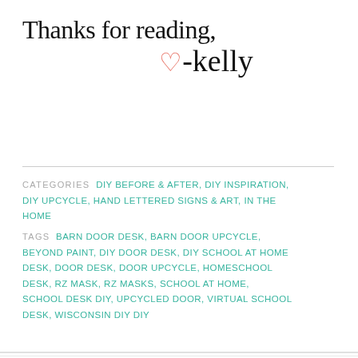Thanks for reading, ♡-kelly
CATEGORIES  DIY BEFORE & AFTER, DIY INSPIRATION, DIY UPCYCLE, HAND LETTERED SIGNS & ART, IN THE HOME
TAGS  BARN DOOR DESK, BARN DOOR UPCYCLE, BEYOND PAINT, DIY DOOR DESK, DIY SCHOOL AT HOME DESK, DOOR DESK, DOOR UPCYCLE, HOMESCHOOL DESK, RZ MASK, RZ MASKS, SCHOOL AT HOME, SCHOOL DESK DIY, UPCYCLED DOOR, VIRTUAL SCHOOL DESK, WISCONSIN DIY DIY